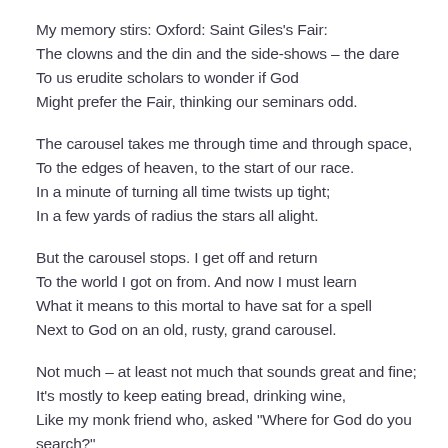My memory stirs: Oxford: Saint Giles's Fair:
The clowns and the din and the side-shows – the dare
To us erudite scholars to wonder if God
Might prefer the Fair, thinking our seminars odd.

The carousel takes me through time and through space,
To the edges of heaven, to the start of our race.
In a minute of turning all time twists up tight;
In a few yards of radius the stars all alight.

But the carousel stops. I get off and return
To the world I got on from. And now I must learn
What it means to this mortal to have sat for a spell
Next to God on an old, rusty, grand carousel.

Not much – at least not much that sounds great and fine;
It's mostly to keep eating bread, drinking wine,
Like my monk friend who, asked "Where for God do you
search?"